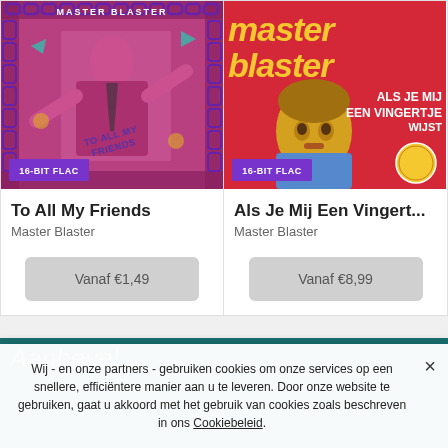[Figure (photo): Album cover for 'To All My Friends' by Master Blaster - pink/purple toned image with chain border and person in suit]
[Figure (illustration): Album cover for 'Als Je Mij Een Vingertje Wijst' by Master Blaster - red background with yellow 'master blaster' text and colorful portrait]
To All My Friends
Master Blaster
Vanaf €1,49
Als Je Mij Een Vingert...
Master Blaster
Vanaf €8,99
Wij - en onze partners - gebruiken cookies om onze services op een snellere, efficiëntere manier aan u te leveren. Door onze website te gebruiken, gaat u akkoord met het gebruik van cookies zoals beschreven in ons Cookiebeleid.